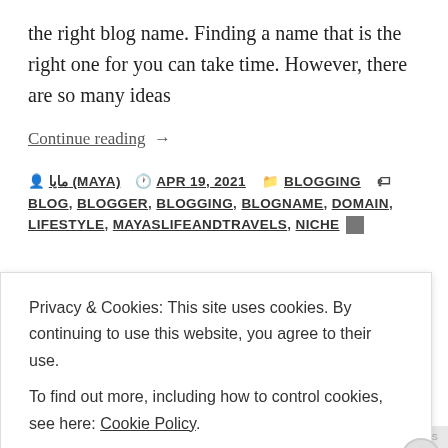the right blog name. Finding a name that is the right one for you can take time. However, there are so many ideas
Continue reading →
👤 مايا (MAYA)  🕐 APR 19, 2021  📁 BLOGGING  🏷 BLOG, BLOGGER, BLOGGING, BLOGNAME, DOMAIN, LIFESTYLE, MAYASLIFEANDTRAVELS, NICHE
Privacy & Cookies: This site uses cookies. By continuing to use this website, you agree to their use.
To find out more, including how to control cookies, see here: Cookie Policy
Close and accept